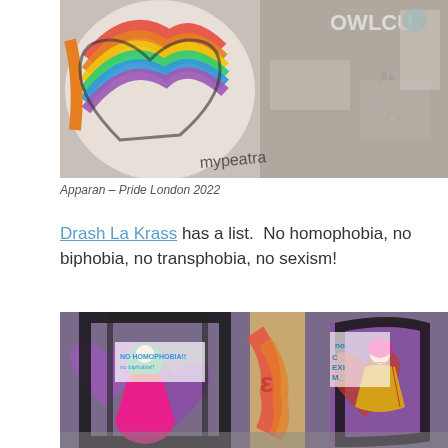[Figure (photo): Graffiti street art showing a colorful rainbow heart with text 'mypeatra' and 'OWLCU' on a brick/concrete wall. Pride London 2022 artwork by Apparan.]
Apparan – Pride London 2022
Drash La Krass has a list.  No homophobia, no biphobia, no transphobia, no sexism!
[Figure (photo): Street art graffiti on a wall showing two female figures dressed in pink and gold outfits, surrounded by purple heart shapes and colorful graffiti tags. Text reads 'NO SEXISM'.]